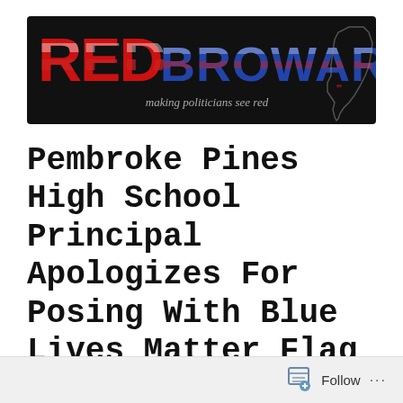[Figure (logo): Red Broward logo banner — black background with large bold text 'RED' in red with American flag texture and 'BROWARD' in blue/silver with American flag texture, subtitle 'making politicians see red' in gray italic, Florida state outline on the right side]
Pembroke Pines High School Principal Apologizes For Posing With Blue Lives Matter Flag
Follow ...